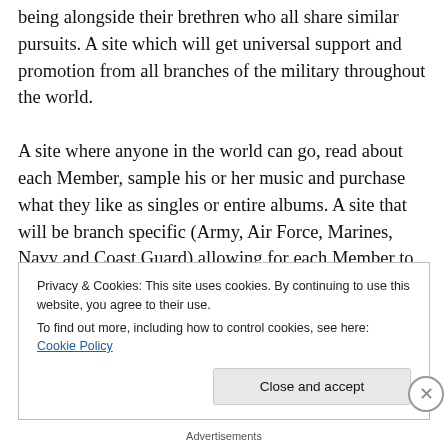being alongside their brethren who all share similar pursuits. A site which will get universal support and promotion from all branches of the military throughout the world.

A site where anyone in the world can go, read about each Member, sample his or her music and purchase what they like as singles or entire albums. A site that will be branch specific (Army, Air Force, Marines, Navy and Coast Guard) allowing for each Member to have his/her own feature page within their branch of service; to tell their own story,
Privacy & Cookies: This site uses cookies. By continuing to use this website, you agree to their use.
To find out more, including how to control cookies, see here: Cookie Policy
Close and accept
Advertisements